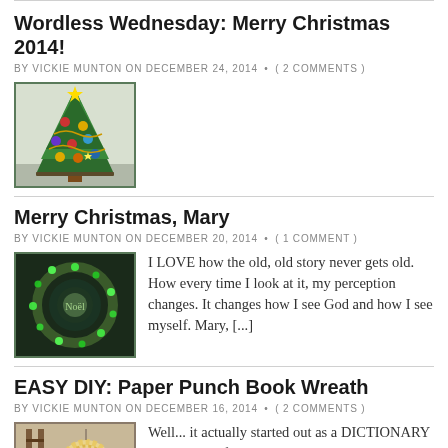Wordless Wednesday: Merry Christmas 2014!
BY VICKIE MUNTON ON DECEMBER 24, 2014 • ( 2 COMMENTS )
[Figure (photo): A decorated Christmas tree with colorful ornaments and star toppers]
Merry Christmas, Mary
BY VICKIE MUNTON ON DECEMBER 20, 2014 • ( 1 COMMENT )
[Figure (photo): A glowing Christmas wreath with green lights]
I LOVE how the old, old story never gets old. How every time I look at it, my perception changes. It changes how I see God and how I see myself. Mary, [...]
EASY DIY: Paper Punch Book Wreath
BY VICKIE MUNTON ON DECEMBER 16, 2014 • ( 2 COMMENTS )
[Figure (photo): A paper punch book wreath hanging on a ladder]
Well... it actually started out as a DICTIONARY wreath, but after giving it a good start, I just decided it was not quite what I wanted and started over using some